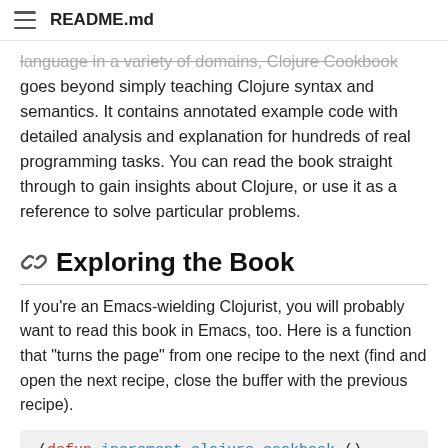README.md
language in a variety of domains, Clojure Cookbook goes beyond simply teaching Clojure syntax and semantics. It contains annotated example code with detailed analysis and explanation for hundreds of real programming tasks. You can read the book straight through to gain insights about Clojure, or use it as a reference to solve particular problems.
Exploring the Book
If you're an Emacs-wielding Clojurist, you will probably want to read this book in Emacs, too. Here is a function that "turns the page" from one recipe to the next (find and open the next recipe, close the buffer with the previous recipe).
(defun increment-clojure-cookbook ()